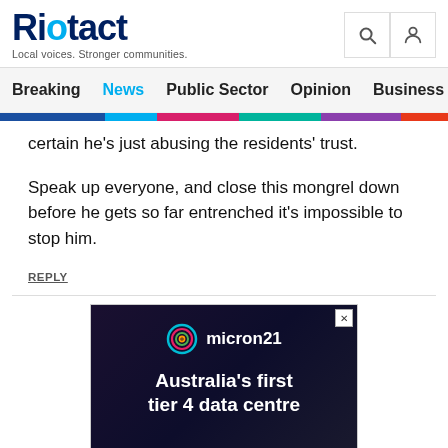Riotact — Local voices. Stronger communities.
Breaking | News | Public Sector | Opinion | Business | R
certain he's just abusing the residents' trust.
Speak up everyone, and close this mongrel down before he gets so far entrenched it's impossible to stop him.
REPLY
[Figure (screenshot): Advertisement for micron21 — Australia's first tier 4 data centre, dark background with server/keyboard imagery, micron21 logo with colorful circular icon]